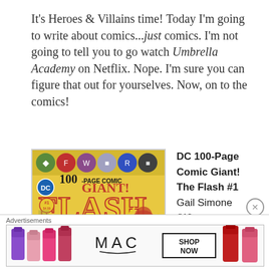It's Heroes & Villains time! Today I'm going to write about comics...just comics. I'm not going to tell you to go watch Umbrella Academy on Netflix. Nope. I'm sure you can figure that out for yourselves. Now, on to the comics!
[Figure (illustration): DC 100-Page Comic Giant! The Flash #1 comic book cover showing The Flash running, with character icons across the top]
DC 100-Page Comic Giant! The Flash #1
Gail Simone (W)
Clayton Henry (A)
Various (W, A)
DC Comics
Advertisements
[Figure (photo): MAC cosmetics advertisement showing lipsticks with SHOP NOW button]